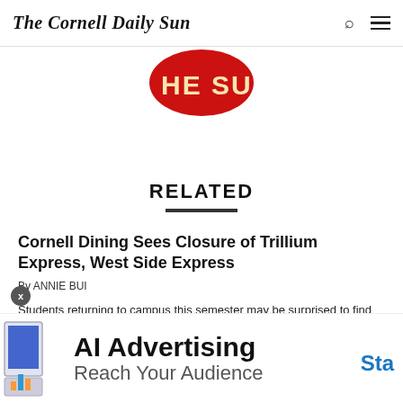The Cornell Daily Sun
[Figure (logo): Partial circular red logo of The Cornell Daily Sun with white text 'HE SU' visible]
RELATED
Cornell Dining Sees Closure of Trillium Express, West Side Express
By ANNIE BUI
Students returning to campus this semester may be surprised to find some changes made to the Cornell Dining lineup, among them the closure of the West Side Express eatery and a planned opening for a new bagel shop that will replace Trillium Express. According to Karen Brown, director of marketing and communications for Cornell Auxiliary Services, Cornell Dining decided to close West Side Express — located in Hans Bethe House on West Campus at the end of the spring 2014 semester, due to low customer traffic
[Figure (infographic): Advertisement banner: AI Advertising - Reach Your Audience - Sta[rt]]